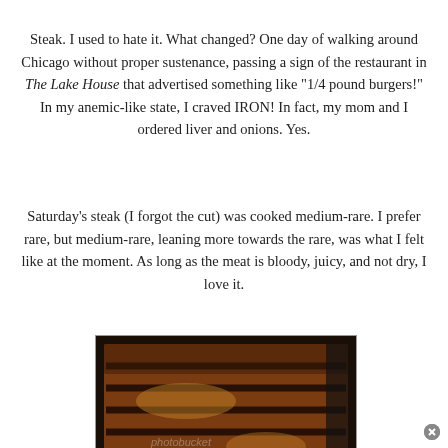Steak. I used to hate it. What changed? One day of walking around Chicago without proper sustenance, passing a sign of the restaurant in The Lake House that advertised something like "1/4 pound burgers!" In my anemic-like state, I craved IRON! In fact, my mom and I ordered liver and onions. Yes.
Saturday's steak (I forgot the cut) was cooked medium-rare. I prefer rare, but medium-rare, leaning more towards the rare, was what I felt like at the moment. As long as the meat is bloody, juicy, and not dry, I love it.
[Figure (photo): A slab of steak cooking on a grill, showing dark grill marks and juicy, glistening surface. A Photobucket watermark is visible.]